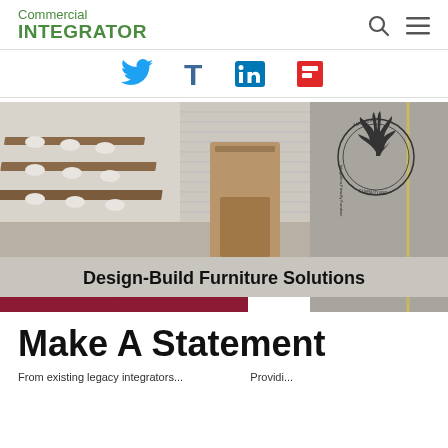Commercial INTEGRATOR
[Figure (infographic): Social media icons: Twitter (blue bird), Tumblr (blue T), LinkedIn (blue 'in'), Flipboard (red icon)]
[Figure (photo): Commercial furniture advertisement for Marshall Furniture showing a conference/lecture room with wooden tables and white chairs, with a podium. Text overlay reads 'Design-Build Furniture Solutions'. Marshall Furniture circular logo visible in upper right.]
Make A Statement
Providi...